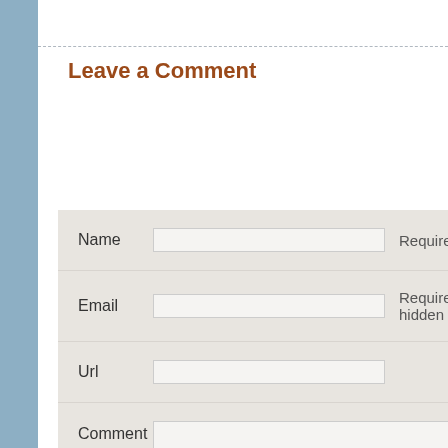Leave a Comment
[Figure (screenshot): Web comment form with fields for Name (Required), Email (Required, hidden), Url, Comment textarea, and a Submit button. Form has a light gray background.]